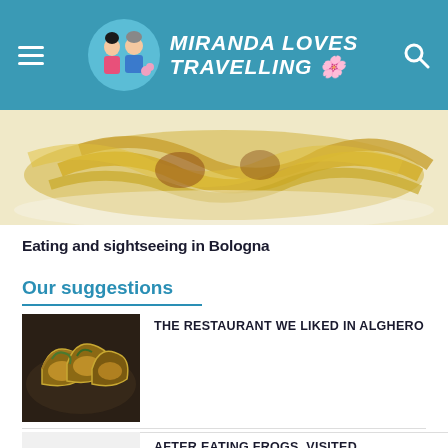Miranda Loves Travelling
[Figure (photo): Close-up photo of pasta (tortellini/pappardelle) on a white plate, yellowish dough visible]
Eating and sightseeing in Bologna
Our suggestions
[Figure (photo): Photo of baked shellfish (oysters or scallops) on a dark plate]
THE RESTAURANT WE LIKED IN ALGHERO
AFTER EATING FROGS, VISITED MORIMONDO ABBEY